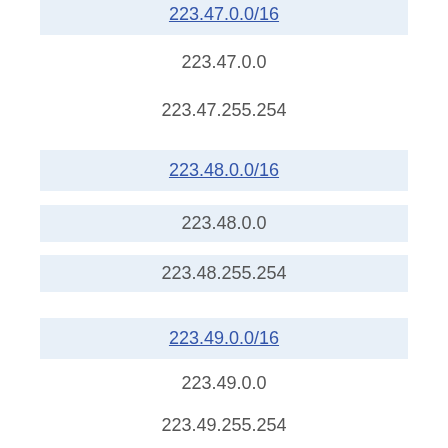223.47.0.0/16
223.47.0.0
223.47.255.254
223.48.0.0/16
223.48.0.0
223.48.255.254
223.49.0.0/16
223.49.0.0
223.49.255.254